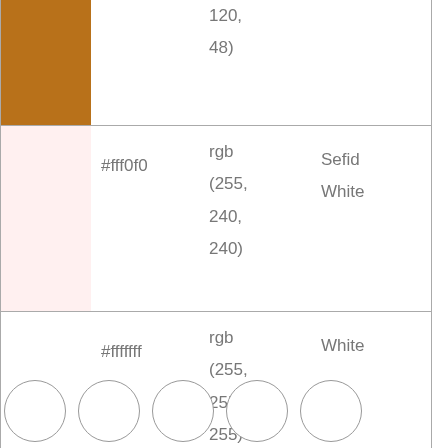| Color swatch | Hex | RGB | Name |
| --- | --- | --- | --- |
| (brown swatch) |  | 120, 48) |  |
| (pink swatch) | #fff0f0 | rgb (255, 240, 240) | Sefid White |
| (white swatch) | #fffffff | rgb (255, 255, 255) | White |
[Figure (illustration): Five empty white circles arranged in a horizontal row]